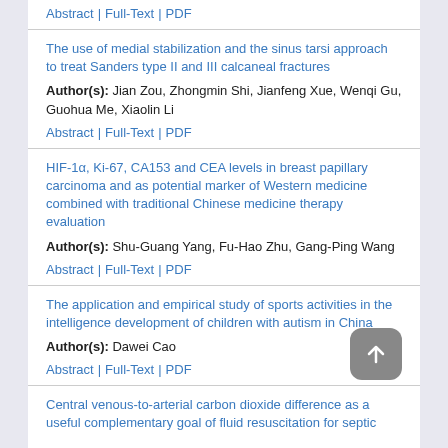Abstract | Full-Text | PDF
The use of medial stabilization and the sinus tarsi approach to treat Sanders type II and III calcaneal fractures
Author(s): Jian Zou, Zhongmin Shi, Jianfeng Xue, Wenqi Gu, Guohua Me, Xiaolin Li
Abstract | Full-Text | PDF
HIF-1α, Ki-67, CA153 and CEA levels in breast papillary carcinoma and as potential marker of Western medicine combined with traditional Chinese medicine therapy evaluation
Author(s): Shu-Guang Yang, Fu-Hao Zhu, Gang-Ping Wang
Abstract | Full-Text | PDF
The application and empirical study of sports activities in the intelligence development of children with autism in China
Author(s): Dawei Cao
Abstract | Full-Text | PDF
Central venous-to-arterial carbon dioxide difference as a useful complementary goal of fluid resuscitation for septic shock patients